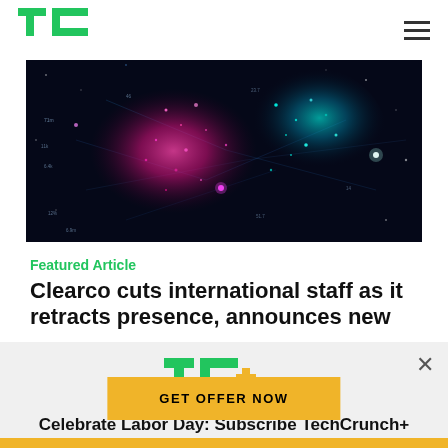TechCrunch
[Figure (photo): Dark digital globe made of pink and teal glowing particles and data network lines on a black background]
Featured Article
Clearco cuts international staff as it retracts presence, announces new
[Figure (logo): TC+ logo in green with orange plus sign]
Celebrate Labor Day: Subscribe TechCrunch+ Today Only for $90/Year.
GET OFFER NOW